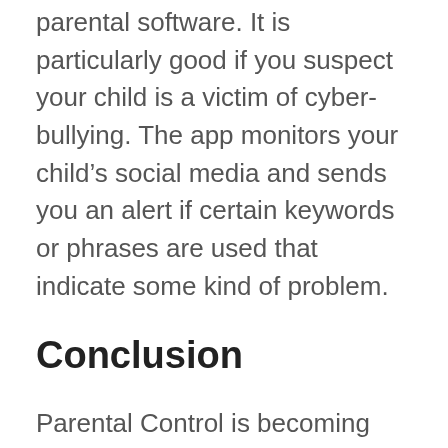parental software. It is particularly good if you suspect your child is a victim of cyber-bullying. The app monitors your child's social media and sends you an alert if certain keywords or phrases are used that indicate some kind of problem.
Conclusion
Parental Control is becoming crucial nowadays from toddler to the teenage years. You don't know what your child is being exposed to in the digital world.